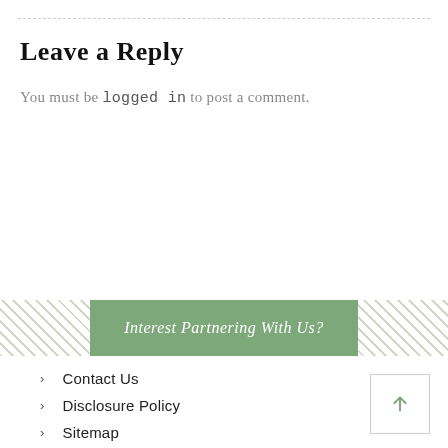Leave a Reply
You must be logged in to post a comment.
[Figure (infographic): Green banner with hatched pattern sides reading 'Interest Partnering With Us?']
> Contact Us
> Disclosure Policy
> Sitemap